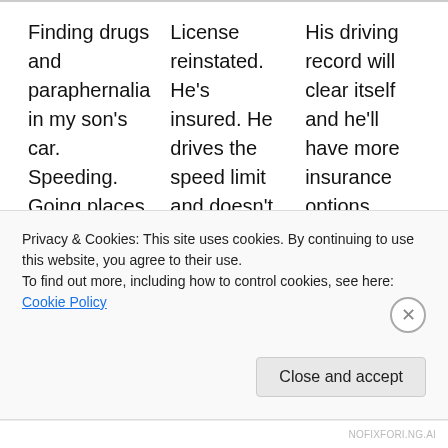Finding drugs and paraphernalia in my son's car. Speeding. Going places he wasn't supposed to go. Random, unexplained
License reinstated. He's insured. He drives the speed limit and doesn't tailgate. He's nearly 8 months sober. He keeps a mileage log of driving the family
His driving record will clear itself and he'll have more insurance options along with lower premiums. He may have his own car. He'll
Privacy & Cookies: This site uses cookies. By continuing to use this website, you agree to their use.
To find out more, including how to control cookies, see here: Cookie Policy
Close and accept